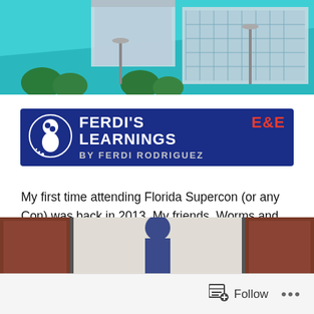[Figure (photo): Aerial or exterior photo of a modern building with teal/cyan sky background and palm trees, partially cut off at top of page]
[Figure (logo): Ferdi's Learnings E&E blog banner with dark blue background, white puzzle-piece thinking character icon, bold white text 'FERDI'S LEARNINGS', red text 'E&E', and grey subtitle 'BY FERDI RODRIGUEZ']
My first time attending Florida Supercon (or any Con) was back in 2013. My friends, Worms and Isis, invited me since we’re into a lot of the same nerdy stuff (mostly things they got me into), so I decided to go and I brought my camera along — we also ran into another buddy who’s into the nerd stuff, Rudy (who made a comeback during Supercon 2022).
[Figure (photo): Partial photo at bottom of page showing a person in a hallway or indoor setting, cut off]
Follow ...